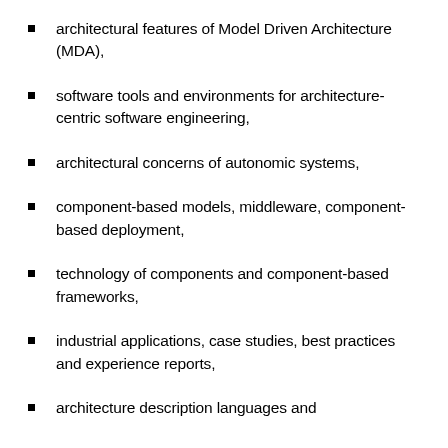architectural features of Model Driven Architecture (MDA),
software tools and environments for architecture-centric software engineering,
architectural concerns of autonomic systems,
component-based models, middleware, component-based deployment,
technology of components and component-based frameworks,
industrial applications, case studies, best practices and experience reports,
architecture description languages and